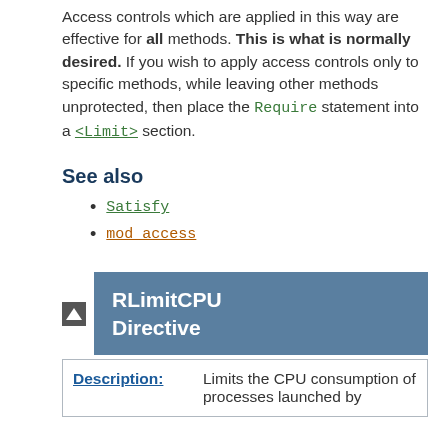Access controls which are applied in this way are effective for all methods. This is what is normally desired. If you wish to apply access controls only to specific methods, while leaving other methods unprotected, then place the Require statement into a <Limit> section.
See also
Satisfy
mod_access
RLimitCPU Directive
| Description: |  |
| --- | --- |
| Description: | Limits the CPU consumption of processes launched by |